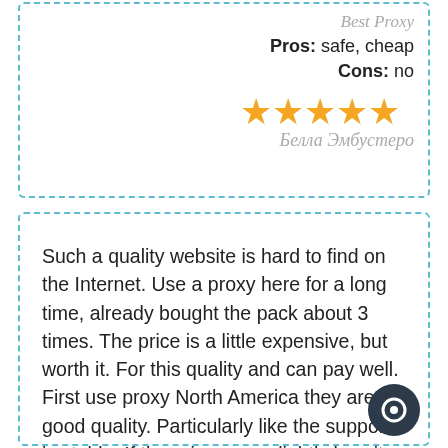Best Proxy
Pros:  safe, cheap
Cons:  no
[Figure (other): 5 gold stars rating]
Белла Эмбустеро
Such a quality website is hard to find on the Internet. Use a proxy here for a long time, already bought the pack about 3 times. The price is a little expensive, but worth it. For this quality and can pay well. First use proxy North America they are good quality. Particularly like the support is stable. If the price were slightly less it would be very cool. Recommend.
3000 proxy
Pros:  quality proxies
Cons:  quality proxies